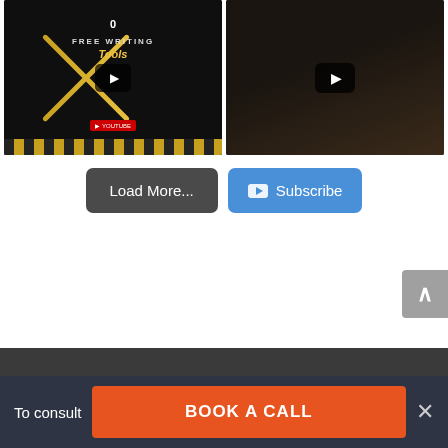[Figure (screenshot): Two YouTube video thumbnails side by side. Left: dark background with golden X cross and text 'FREE WRITING Tools' with YouTube badge. Right: dark photo of a person wearing headphones with a play button overlay.]
[Figure (other): Load More and Subscribe buttons row. Load More is dark grey rounded button. Subscribe is blue rounded button with YouTube icon.]
[Figure (other): Grey scroll-to-top arrow button on the right side.]
[Figure (other): Footer bar with dark strip at top, then navy background containing 'To consult' text, orange 'BOOK A CALL' button, and X close button.]